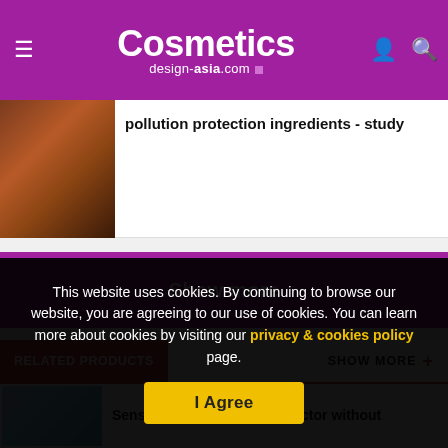Cosmetics design-asia.com
pollution protection ingredients - study
Show more
RELATED PRODUCTS
SHOW MORE +
Sensiva™ go natural,a protector without
This website uses cookies. By continuing to browse our website, you are agreeing to our use of cookies. You can learn more about cookies by visiting our privacy & cookies policy page.
I Agree